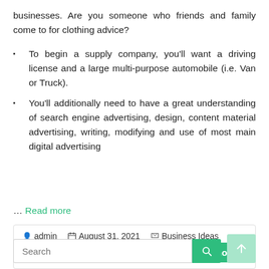businesses. Are you someone who friends and family come to for clothing advice?
To begin a supply company, you'll want a driving license and a large multi-purpose automobile (i.e. Van or Truck).
You'll additionally need to have a great understanding of search engine advertising, design, content material advertising, writing, modifying and use of most main digital advertising
… Read more
admin   August 31, 2021   Business Ideas
Read more
Search